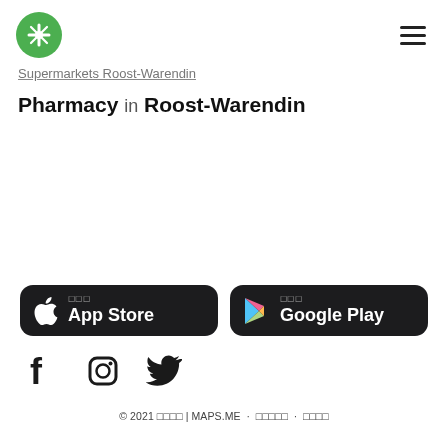[Figure (logo): Green circular MAPS.ME logo with white cross/map icon]
Supermarkets Roost-Warendin
Pharmacy in Roost-Warendin
[Figure (other): App Store download button (black rounded rectangle with Apple logo)]
[Figure (other): Google Play download button (black rounded rectangle with Play triangle logo)]
[Figure (other): Social media icons: Facebook, Instagram, Twitter]
© 2021 MAPS.ME | MAPS.ME · Privacy Policy · Terms